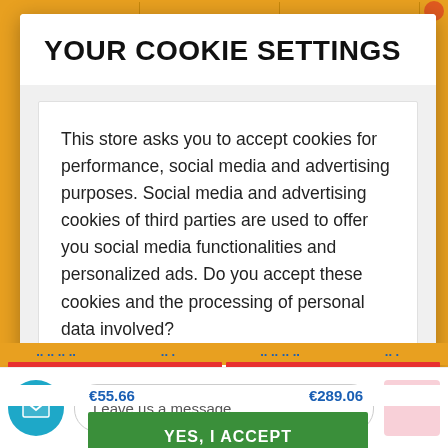YOUR COOKIE SETTINGS
This store asks you to accept cookies for performance, social media and advertising purposes. Social media and advertising cookies of third parties are used to offer you social media functionalities and personalized ads. Do you accept these cookies and the processing of personal data involved?
YES, I ACCEPT
MORE INFORMATION
Leave us a message
€55.66
€289.06